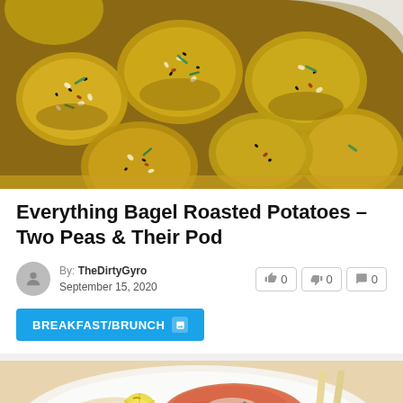[Figure (photo): Overhead close-up photo of roasted potatoes with everything bagel seasoning (sesame seeds, black seeds, green onions) in a white ceramic baking dish on a yellow surface]
Everything Bagel Roasted Potatoes – Two Peas & Their Pod
By: TheDirtyGyro
September 15, 2020
BREAKFAST/BRUNCH
[Figure (photo): Salmon fillet with lemon slices served on pasta, photographed from above with chopsticks on a light plate]